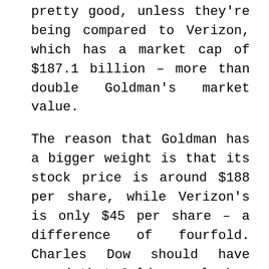pretty good, unless they're being compared to Verizon, which has a market cap of $187.1 billion – more than double Goldman's market value.
The reason that Goldman has a bigger weight is that its stock price is around $188 per share, while Verizon's is only $45 per share – a difference of fourfold. Charles Dow should have cared that Goldman only has 451 million shares outstanding compared to 4.1 billion for Verizon.
The other quirk for the DJIA is that a committee picks the constituent stocks and they have famously picked stocks after large run ups that suffered after being